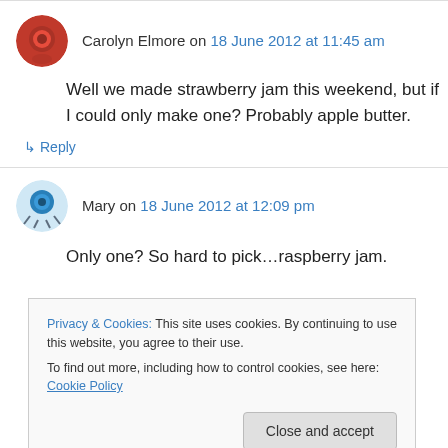Carolyn Elmore on 18 June 2012 at 11:45 am
Well we made strawberry jam this weekend, but if I could only make one? Probably apple butter.
↳ Reply
Mary on 18 June 2012 at 12:09 pm
Only one? So hard to pick…raspberry jam.
Privacy & Cookies: This site uses cookies. By continuing to use this website, you agree to their use. To find out more, including how to control cookies, see here: Cookie Policy
Close and accept
working on sourcing some organic citrus this